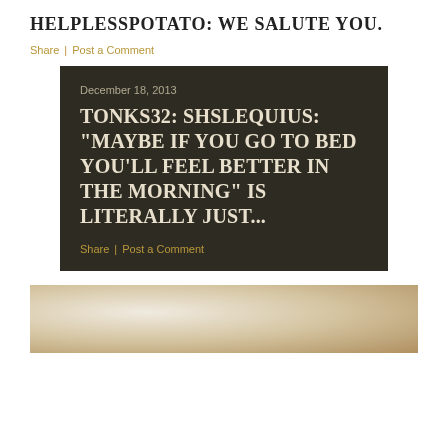HELPLESSPOTATO: WE SALUTE YOU.
Share | Post a Comment
[Figure (screenshot): Dark brown/olive colored card block containing date 'December 18, 2013', a bold serif title about TONKS32 and SHSLEQUIUS, and Share/Post a Comment links at the bottom]
December 18, 2013
TONKS32: SHSLEQUIUS: "MAYBE IF YOU GO TO BED YOU'LL FEEL BETTER IN THE MORNING" IS LITERALLY JUST...
Share | Post a Comment
[Figure (photo): Partial photo with warm tan and beige tones, light bloom in upper left area]